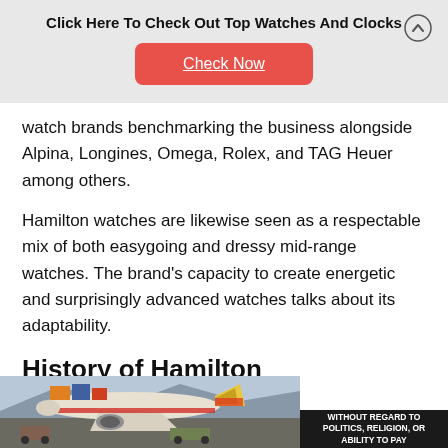Click Here To Check Out Top Watches And Clocks
Check Now
watch brands benchmarking the business alongside Alpina, Longines, Omega, Rolex, and TAG Heuer among others.
Hamilton watches are likewise seen as a respectable mix of both easygoing and dressy mid-range watches. The brand's capacity to create energetic and surprisingly advanced watches talks about its adaptability.
History of Hamilton
[Figure (photo): Airplane being loaded with cargo on tarmac, with advertisement overlay reading WITHOUT REGARD TO (text continues)]